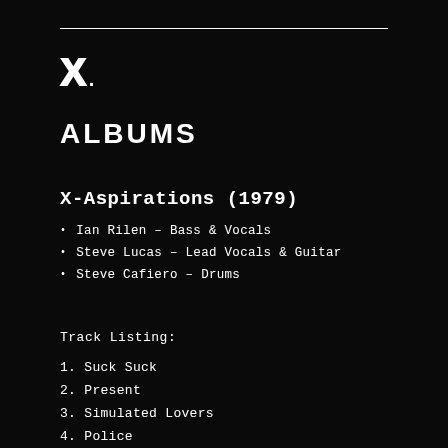X.
ALBUMS
X-Aspirations (1979)
Ian Rilen – Bass & Vocals
Steve Lucas – Lead Vocals & Guitar
Steve Cafiero – Drums
Track Listing:
1.  Suck Suck
2.  Present
3.  Simulated Lovers
4.  Police